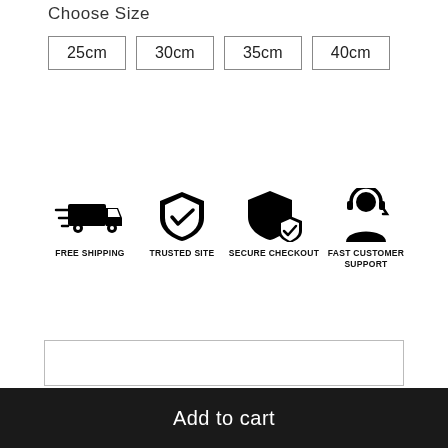Choose Size
25cm
30cm
35cm
40cm
[Figure (infographic): Four trust badge icons: Free Shipping (delivery truck with speed lines), Trusted Site (shield with checkmark), Secure Checkout (shield with checkmark overlay), Fast Customer Support (person with headset). Each icon has a label beneath it in uppercase bold text.]
Add to cart